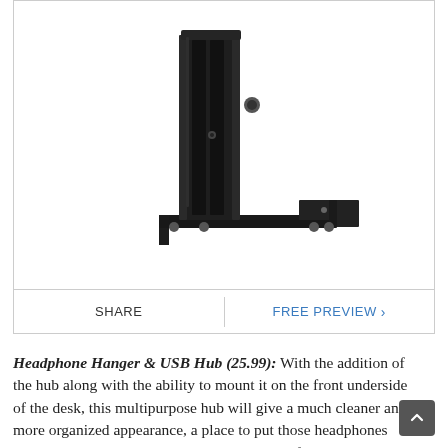[Figure (photo): Product photo of a black headphone hanger and USB hub mount — a vertical black metal bracket with adjustment knob and rubber feet on an L-shaped base tray, shown on white background]
SHARE | FREE PREVIEW ›
Headphone Hanger & USB Hub (25.99): With the addition of the hub along with the ability to mount it on the front underside of the desk, this multipurpose hub will give a much cleaner and more organized appearance, a place to put those headphones when they're not in use, and east USB access for charging